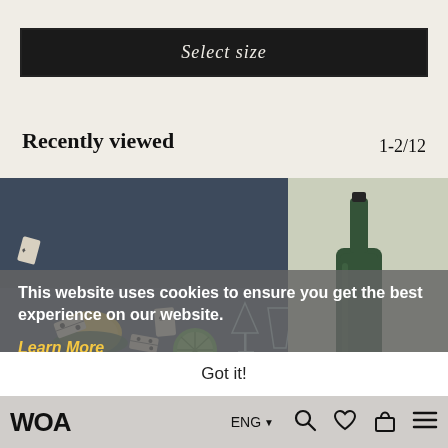Select size
Recently viewed
1-2/12
[Figure (photo): Two product images side by side: left shows an art print depicting a table scene with lemons, dominos, playing cards, a bowl, glass, and cocktail items on a dark blue background; right shows a dark green wine/champagne bottle with a glass on a light background.]
This website uses cookies to ensure you get the best experience on our website. Learn More
Got it!
WOA   ENG ▼   🔍   ♡   🔒   ≡